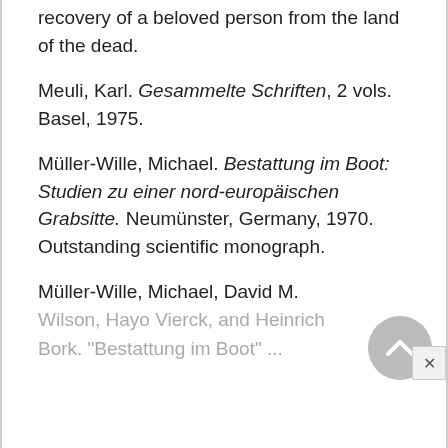recovery of a beloved person from the land of the dead.
Meuli, Karl. Gesammelte Schriften, 2 vols. Basel, 1975.
Müller-Wille, Michael. Bestattung im Boot: Studien zu einer nord-europäischen Grabsitte. Neumünster, Germany, 1970. Outstanding scientific monograph.
Müller-Wille, Michael, David M. Wilson, Hayo Vierck, and Heinrich Bork. "Bestattung im Boot" ...